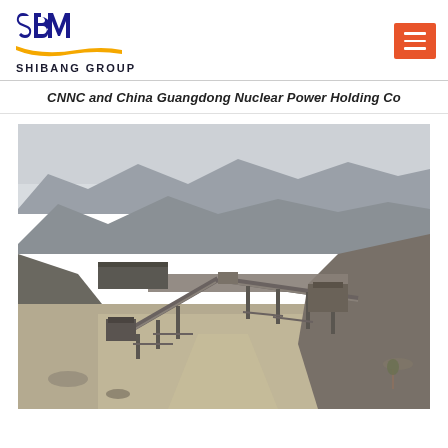[Figure (logo): SBM Shibang Group logo with blue letters and yellow swoosh underline]
CNNC and China Guangdong Nuclear Power Holding Co
[Figure (photo): Aerial view of a quarry/mining crushing plant with conveyor belts set in a desert mountain landscape. Industrial equipment including crushers and conveyor systems visible against rocky hills and arid terrain.]